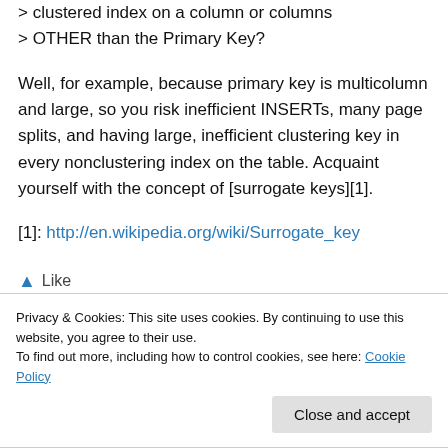> clustered index on a column or columns > OTHER than the Primary Key?
Well, for example, because primary key is multicolumn and large, so you risk inefficient INSERTs, many page splits, and having large, inefficient clustering key in every nonclustering index on the table. Acquaint yourself with the concept of [surrogate keys][1].
[1]: http://en.wikipedia.org/wiki/Surrogate_key
▲ Like
Privacy & Cookies: This site uses cookies. By continuing to use this website, you agree to their use.
To find out more, including how to control cookies, see here: Cookie Policy
Close and accept